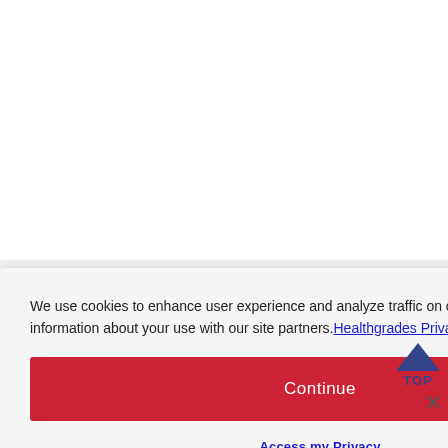ADVERTISEMENT
We use cookies to enhance user experience and analyze traffic on our site. We also share information about your use with our site partners. Healthgrades Privacy Policy
Continue
Access my Privacy Preferences